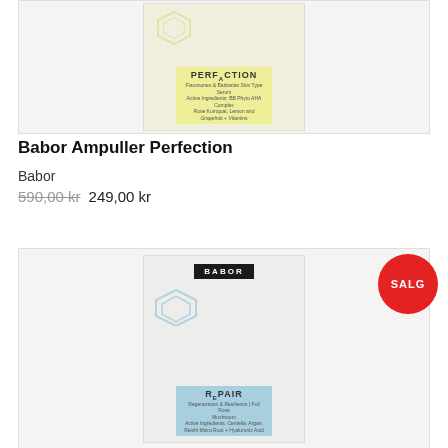[Figure (photo): Babor Ampuller Perfection product packaging image showing yellow hexagonal design with PERFECTION label on light background]
Babor Ampuller Perfection
Babor
590,00 kr 249,00 kr
[Figure (photo): Babor Ampuller Repair product packaging image showing blue hexagonal design with REPAIR label on light grey background, with SALG badge]
SALG